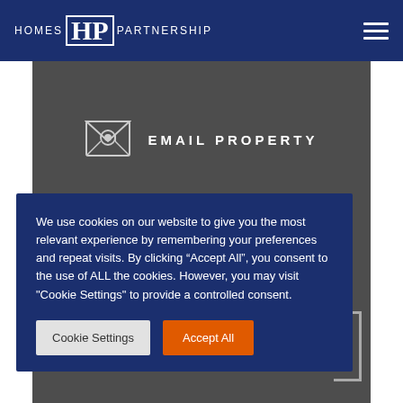HOMES HP PARTNERSHIP
[Figure (other): Email property icon - open envelope with @ symbol]
EMAIL PROPERTY
We use cookies on our website to give you the most relevant experience by remembering your preferences and repeat visits. By clicking "Accept All", you consent to the use of ALL the cookies. However, you may visit "Cookie Settings" to provide a controlled consent.
Cookie Settings | Accept All